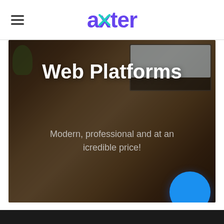axter — navigation header with hamburger menu and logo
Web Platforms
Modern, professional and at an icredible price!
[Figure (photo): Hero background image showing a person writing in a notebook at a desk with a computer monitor, overlaid with dark semi-transparent overlay. A large blue circular button appears at the bottom right.]